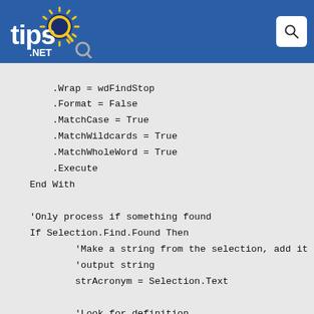tips.net
.Wrap = wdFindStop
        .Format = False
        .MatchCase = True
        .MatchWildcards = True
        .MatchWholeWord = True
        .Execute
    End With

    'Only process if something found
    If Selection.Find.Found Then
            'Make a string from the selection, add it to
            'output string
            strAcronym = Selection.Text

            'Look for definition
            Selection.MoveRight Unit:=wdWord
            Selection.MoveRight Unit:=wdCharacter, _
              Extend:=wdExtend